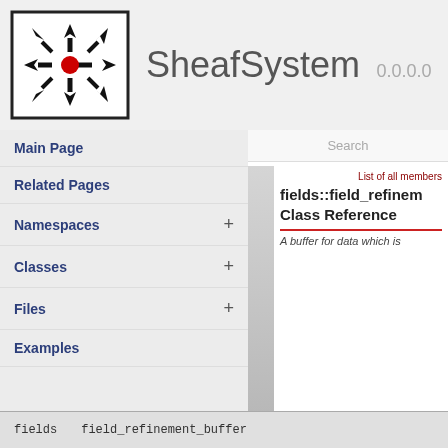[Figure (logo): SheafSystem logo: black arrows pointing inward toward a red center dot, in a square frame]
SheafSystem 0.0.0.0
Main Page
Related Pages
Namespaces +
Classes +
Files +
Examples
Search
List of all members
fields::field_refinement_buffer Class Reference
A buffer for data which is
fields    field_refinement_buffer